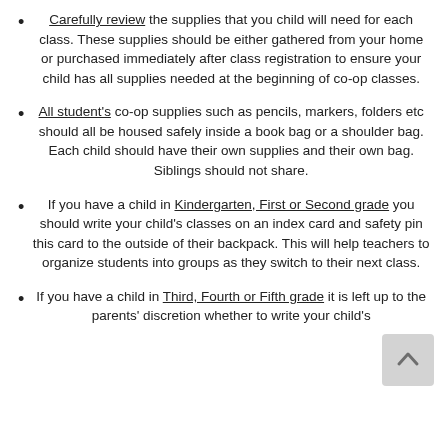Carefully review the supplies that you child will need for each class. These supplies should be either gathered from your home or purchased immediately after class registration to ensure your child has all supplies needed at the beginning of co-op classes.
All student's co-op supplies such as pencils, markers, folders etc should all be housed safely inside a book bag or a shoulder bag. Each child should have their own supplies and their own bag. Siblings should not share.
If you have a child in Kindergarten, First or Second grade you should write your child's classes on an index card and safety pin this card to the outside of their backpack. This will help teachers to organize students into groups as they switch to their next class.
If you have a child in Third, Fourth or Fifth grade it is left up to the parents' discretion whether to write your child's classes on an index card before arriving.